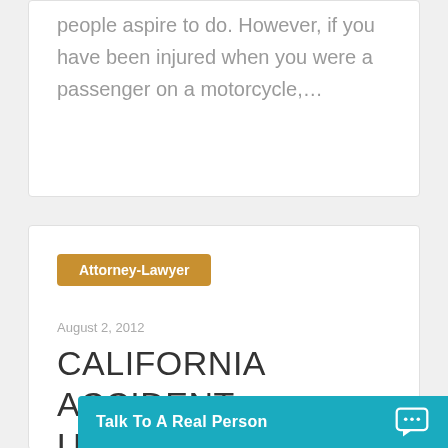people aspire to do. However, if you have been injured when you were a passenger on a motorcycle,…
Attorney-Lawyer
August 2, 2012
CALIFORNIA ACCIDENT UPDATES
Talk To A Real Person